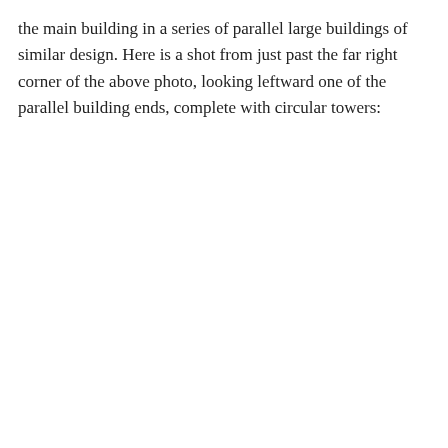the main building in a series of parallel large buildings of similar design. Here is a shot from just past the far right corner of the above photo, looking leftward one of the parallel building ends, complete with circular towers: